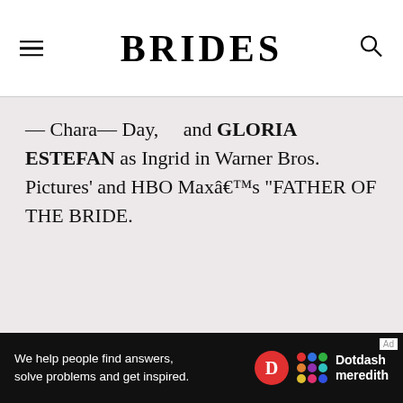BRIDES
and GLORIA ESTEFAN as Ingrid in Warner Bros. Pictures' and HBO Maxâs "FATHER OF THE BRIDE.
[Figure (other): Advertisement banner for Dotdash Meredith: 'We help people find answers, solve problems and get inspired.']